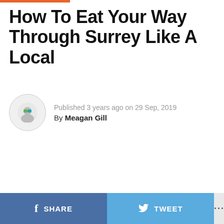How To Eat Your Way Through Surrey Like A Local
Published 3 years ago on 29 Sep, 2019
By Meagan Gill
SHARE   TWEET   ...